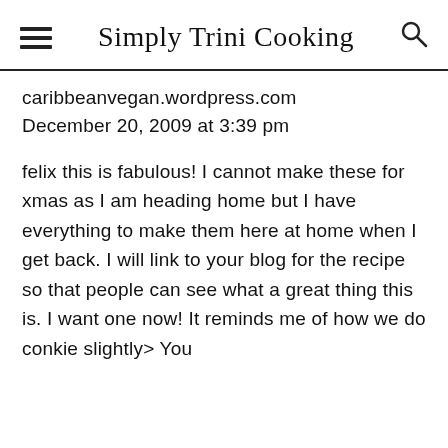Simply Trini Cooking
caribbeanvegan.wordpress.com
December 20, 2009 at 3:39 pm
felix this is fabulous! I cannot make these for xmas as I am heading home but I have everything to make them here at home when I get back. I will link to your blog for the recipe so that people can see what a great thing this is. I want one now! It reminds me of how we do conkie slightly> You